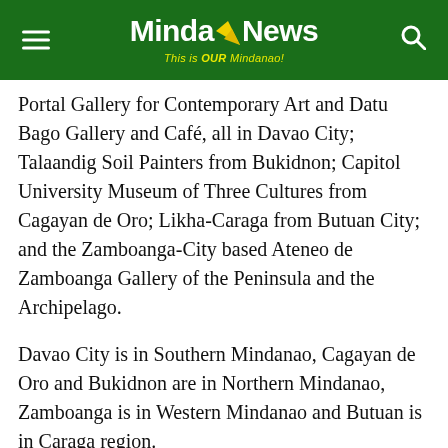MindaNews — This is OUR Mindanao!
Portal Gallery for Contemporary Art and Datu Bago Gallery and Café, all in Davao City; Talaandig Soil Painters from Bukidnon; Capitol University Museum of Three Cultures from Cagayan de Oro; Likha-Caraga from Butuan City; and the Zamboanga-City based Ateneo de Zamboanga Gallery of the Peninsula and the Archipelago.
Davao City is in Southern Mindanao, Cagayan de Oro and Bukidnon are in Northern Mindanao, Zamboanga is in Western Mindanao and Butuan is in Caraga region.
Mindanao has 27 provinces and 33 cities spread across six regions.